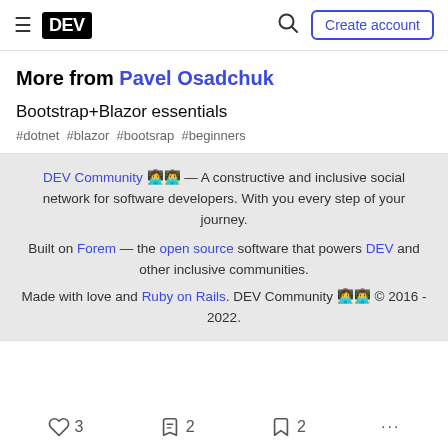DEV — Create account
More from Pavel Osadchuk
Bootstrap+Blazor essentials
#dotnet #blazor #bootsrap #beginners
DEV Community 👩‍💻👨‍💻 — A constructive and inclusive social network for software developers. With you every step of your journey.
Built on Forem — the open source software that powers DEV and other inclusive communities.
Made with love and Ruby on Rails. DEV Community 👩‍💻👨‍💻 © 2016 - 2022.
3  2  2  ...